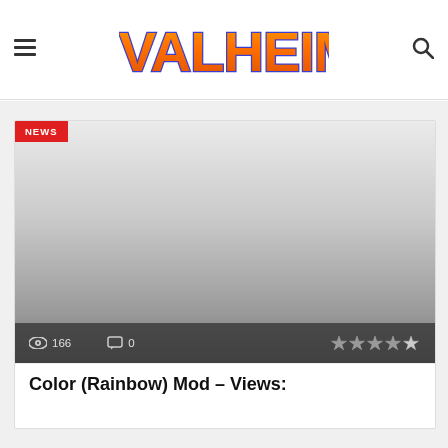9VALHEIM
[Figure (screenshot): Article card with NEWS badge, gradient placeholder image, view count 166, comment count 0, and star rating icons]
166
0
Color (Rainbow) Mod – Views: